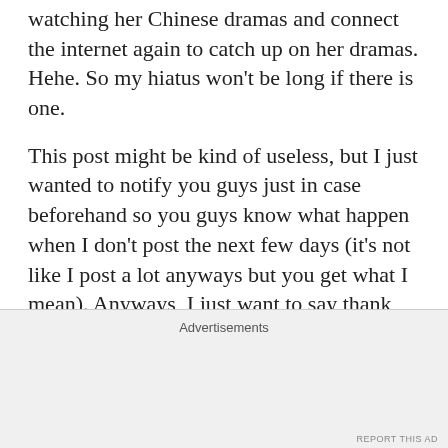watching her Chinese dramas and connect the internet again to catch up on her dramas. Hehe. So my hiatus won't be long if there is one.
This post might be kind of useless, but I just wanted to notify you guys just in case beforehand so you guys know what happen when I don't post the next few days (it's not like I post a lot anyways but you get what I mean). Anyways, I just want to say thank you to everyone who's been visiting this blog and commenting! IT MEANS A LOT TO ME. Even if I don't reply back to your comment (because I'm busy or lazy), I have read it so don't
Advertisements